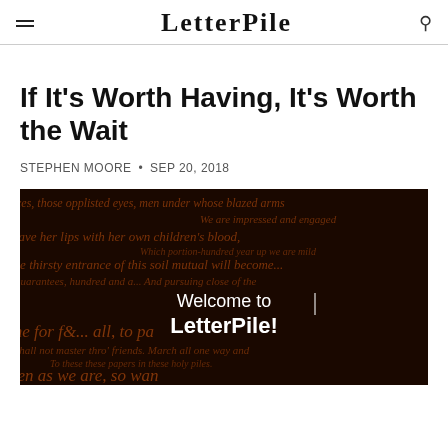LetterPile
If It's Worth Having, It's Worth the Wait
STEPHEN MOORE • SEP 20, 2018
[Figure (photo): Dark background with orange/brown cursive handwriting text overlaid, with centered white text reading 'Welcome to LetterPile!']